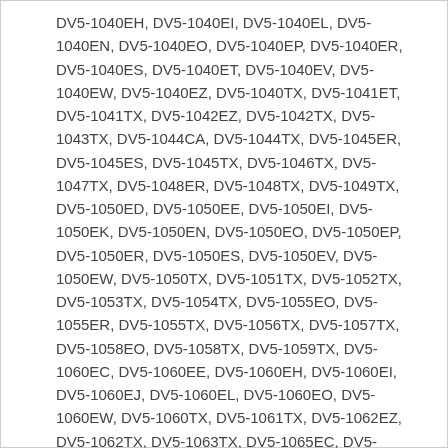DV5-1040EH, DV5-1040EI, DV5-1040EL, DV5-1040EN, DV5-1040EO, DV5-1040EP, DV5-1040ER, DV5-1040ES, DV5-1040ET, DV5-1040EV, DV5-1040EW, DV5-1040EZ, DV5-1040TX, DV5-1041ET, DV5-1041TX, DV5-1042EZ, DV5-1042TX, DV5-1043TX, DV5-1044CA, DV5-1044TX, DV5-1045ER, DV5-1045ES, DV5-1045TX, DV5-1046TX, DV5-1047TX, DV5-1048ER, DV5-1048TX, DV5-1049TX, DV5-1050ED, DV5-1050EE, DV5-1050EI, DV5-1050EK, DV5-1050EN, DV5-1050EO, DV5-1050EP, DV5-1050ER, DV5-1050ES, DV5-1050EV, DV5-1050EW, DV5-1050TX, DV5-1051TX, DV5-1052TX, DV5-1053TX, DV5-1054TX, DV5-1055EO, DV5-1055ER, DV5-1055TX, DV5-1056TX, DV5-1057TX, DV5-1058EO, DV5-1058TX, DV5-1059TX, DV5-1060EC, DV5-1060EE, DV5-1060EH, DV5-1060EI, DV5-1060EJ, DV5-1060EL, DV5-1060EO, DV5-1060EW, DV5-1060TX, DV5-1061TX, DV5-1062EZ, DV5-1062TX, DV5-1063TX, DV5-1065EC, DV5-1070EC, DV5-1070EE, DV5-1070EL, DV5-1070EO,